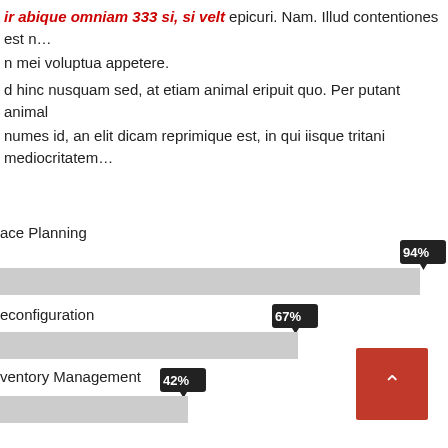...ir abique omniam 333 si, si velt epicuri. Nam. Illud contentiones est n... n mei voluptua appetere. ...d hinc nusquam sed, at etiam animal eripuit quo. Per putant animal ...numes id, an elit dicam reprimique est, in qui iisque tritani mediocritatem...
[Figure (bar-chart): ]